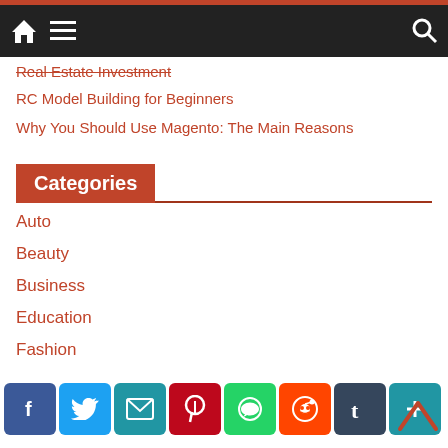Navigation bar with home, menu, and search icons
Real Estate Investment
RC Model Building for Beginners
Why You Should Use Magento: The Main Reasons
Categories
Auto
Beauty
Business
Education
Fashion
Finance
General
Social share buttons: Facebook, Twitter, Email, Pinterest, WhatsApp, Reddit, Tumblr, More